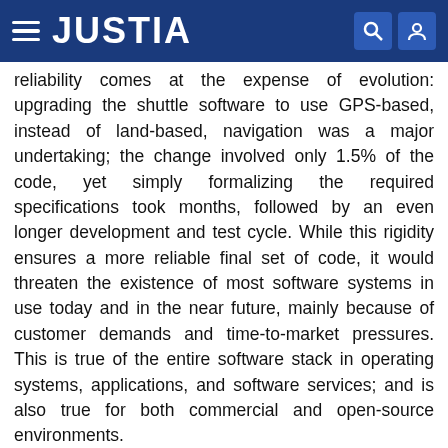JUSTIA
reliability comes at the expense of evolution: upgrading the shuttle software to use GPS-based, instead of land-based, navigation was a major undertaking; the change involved only 1.5% of the code, yet simply formalizing the required specifications took months, followed by an even longer development and test cycle. While this rigidity ensures a more reliable final set of code, it would threaten the existence of most software systems in use today and in the near future, mainly because of customer demands and time-to-market pressures. This is true of the entire software stack in operating systems, applications, and software services; and is also true for both commercial and open-source environments.
With regard to unforeseen usage, the presence of increasingly diverse execution environments and different scenarios constitute another factor that limits